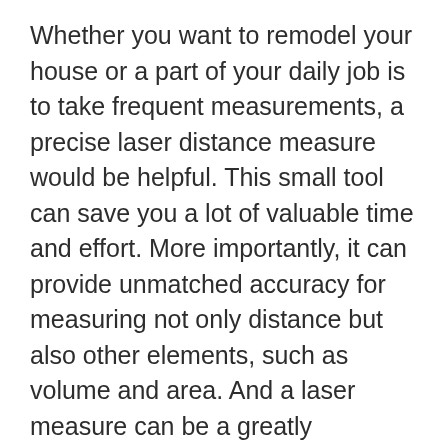Whether you want to remodel your house or a part of your daily job is to take frequent measurements, a precise laser distance measure would be helpful. This small tool can save you a lot of valuable time and effort. More importantly, it can provide unmatched accuracy for measuring not only distance but also other elements, such as volume and area. And a laser measure can be a greatly convenient tool as well. Now you do not need anyone else to hold a tape to measure anything. But how can you choose the best model among so many options available? We have rounded up the following list of the top 10 best laser